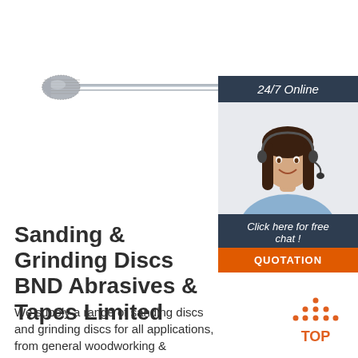[Figure (photo): A long metal rotary burr/grinding tool bit with a bullet-shaped carbide tip and a long thin shank, shown horizontally.]
[Figure (photo): A smiling woman wearing a headset microphone, shown as a customer service representative, with '24/7 Online' banner above and 'Click here for free chat!' text below, plus an orange QUOTATION button.]
Sanding & Grinding Discs BND Abrasives & Tapes Limited
We supply a range of sanding discs and grinding discs for all applications, from general woodworking & metalworking to Glass Reinforced Plastic (GRP).
[Figure (illustration): An orange 'TOP' label with triangular dot pattern above it, indicating a 'back to top' navigation element.]